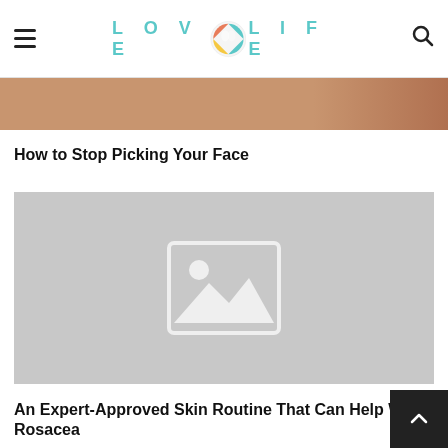LOVE LIFE (logo with icon)
[Figure (photo): Top cropped photo strip showing skin/face in warm brown tones]
How to Stop Picking Your Face
[Figure (photo): Placeholder image (gray rectangle with image placeholder icon)]
An Expert-Approved Skin Routine That Can Help With Rosacea